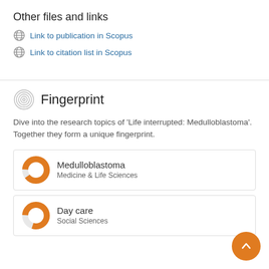Other files and links
Link to publication in Scopus
Link to citation list in Scopus
Fingerprint
Dive into the research topics of 'Life interrupted: Medulloblastoma'. Together they form a unique fingerprint.
Medulloblastoma
Medicine & Life Sciences
Day care
Social Sciences